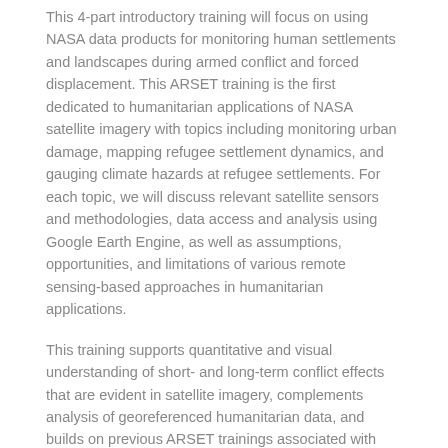This 4-part introductory training will focus on using NASA data products for monitoring human settlements and landscapes during armed conflict and forced displacement. This ARSET training is the first dedicated to humanitarian applications of NASA satellite imagery with topics including monitoring urban damage, mapping refugee settlement dynamics, and gauging climate hazards at refugee settlements. For each topic, we will discuss relevant satellite sensors and methodologies, data access and analysis using Google Earth Engine, as well as assumptions, opportunities, and limitations of various remote sensing-based approaches in humanitarian applications.
This training supports quantitative and visual understanding of short- and long-term conflict effects that are evident in satellite imagery, complements analysis of georeferenced humanitarian data, and builds on previous ARSET trainings associated with cropland monitoring, human settlement detection, disaster risk assessment, nighttime lights, and Google Earth Engine.
Language of event:    English
Training type:    web-based